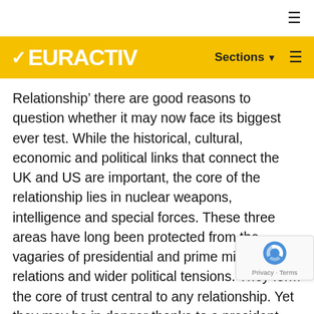EURACTIV — Sections (navigation bar)
Relationship’ there are good reasons to question whether it may now face its biggest ever test. While the historical, cultural, economic and political links that connect the UK and US are important, the core of the relationship lies in nuclear weapons, intelligence and special forces. These three areas have long been protected from the vagaries of presidential and prime ministerial relations and wider political tensions. They form the core of trust central to any relationship. Yet they may be in danger thanks to a president-elect who seems oblivious to Russian hacking, willing to bomb the families of terrorists and prepared to sanction torture.
A broader risk for Britain in general, and Theresa